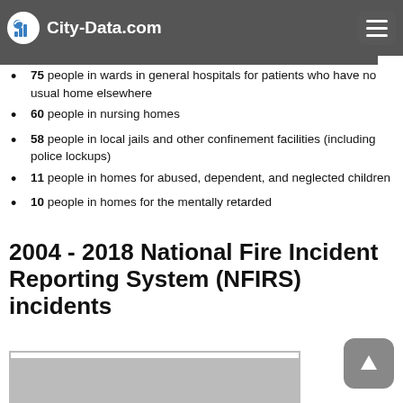City-Data.com
People in group quarters in 2000:
75 people in wards in general hospitals for patients who have no usual home elsewhere
60 people in nursing homes
58 people in local jails and other confinement facilities (including police lockups)
11 people in homes for abused, dependent, and neglected children
10 people in homes for the mentally retarded
2004 - 2018 National Fire Incident Reporting System (NFIRS) incidents
[Figure (other): Partially visible chart area at the bottom of the page]